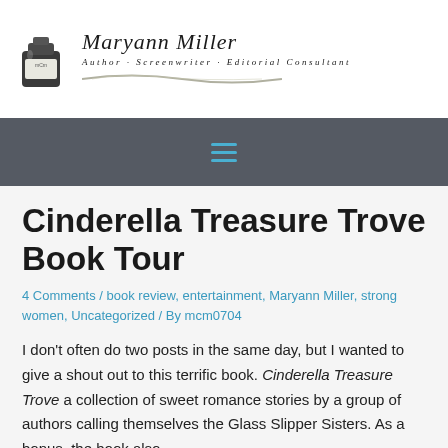[Figure (logo): Maryann Miller author logo with ink bottle graphic, script name 'Maryann Miller', tagline 'Author · Screenwriter · Editorial Consultant', and feather/quill illustration]
[Figure (other): Dark grey navigation bar with hamburger menu icon (three horizontal blue lines)]
Cinderella Treasure Trove Book Tour
4 Comments / book review, entertainment, Maryann Miller, strong women, Uncategorized / By mcm0704
I don't often do two posts in the same day, but I wanted to give a shout out to this terrific book. Cinderella Treasure Trove a collection of sweet romance stories by a group of authors calling themselves the Glass Slipper Sisters. As a bonus, the book also